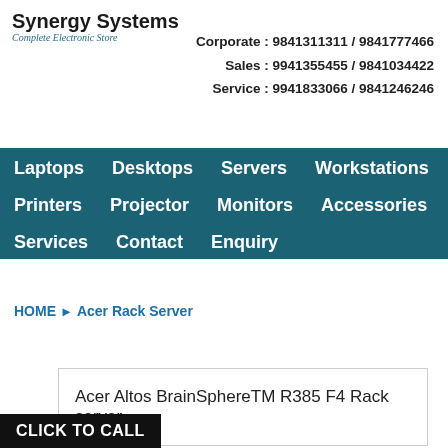Synergy Systems
Complete Electronic Store
Corporate : 9841311311 / 9841777466
Sales : 9941355455 / 9841034422
Service : 9941833066 / 9841246246
Laptops  Desktops  Servers  Workstations  Enterprises  Printers  Projector  Monitors  Accessories  Tablets  Services  Contact  Enquiry
HOME ▶ Acer Rack Server
Acer Altos BrainSphereTM R385 F4 Rack server
CLICK TO CALL